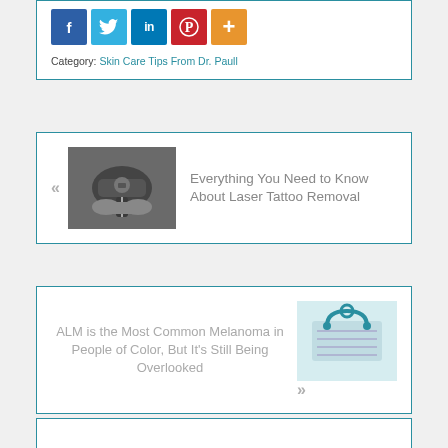[Figure (infographic): Social sharing buttons: Facebook (blue), Twitter (light blue), LinkedIn (dark blue), Pinterest (red), More/Plus (orange)]
Category: Skin Care Tips From Dr. Paull
[Figure (photo): Black and white photo of a hand holding a tattoo machine/needle]
Everything You Need to Know About Laser Tattoo Removal
[Figure (photo): Photo of a stethoscope on paper/clipboard]
ALM is the Most Common Melanoma in People of Color, But It's Still Being Overlooked